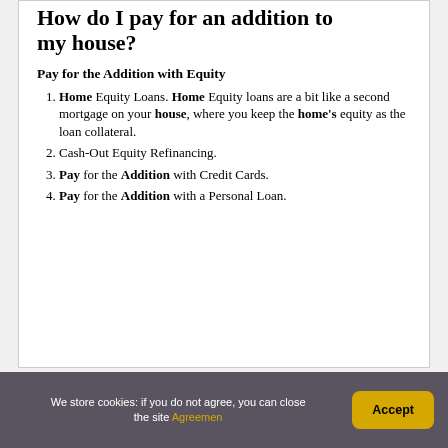How do I pay for an addition to my house?
Pay for the Addition with Equity
Home Equity Loans. Home Equity loans are a bit like a second mortgage on your house, where you keep the home's equity as the loan collateral.
Cash-Out Equity Refinancing.
Pay for the Addition with Credit Cards.
Pay for the Addition with a Personal Loan.
We store cookies: if you do not agree, you can close the site Agreemen Accept